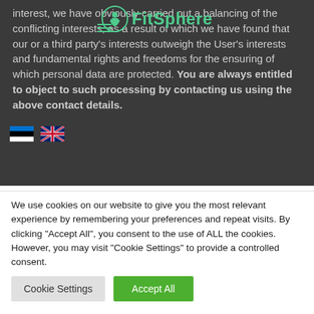interest, we have obviously carried out a balancing of the conflicting interests, as a result of which we have found that our or a third party's interests outweigh the User's interests and fundamental rights and freedoms for the ensuring of which personal data are protected. You are always entitled to object to such processing by contacting us using the above contact details.
[Figure (logo): FitSphere logo with circular figure icon and teal text]
WHO MAY WE SHARE YOUR PERSONAL DATA WITH?
We use cookies on our website to give you the most relevant experience by remembering your preferences and repeat visits. By clicking "Accept All", you consent to the use of ALL the cookies. However, you may visit "Cookie Settings" to provide a controlled consent.